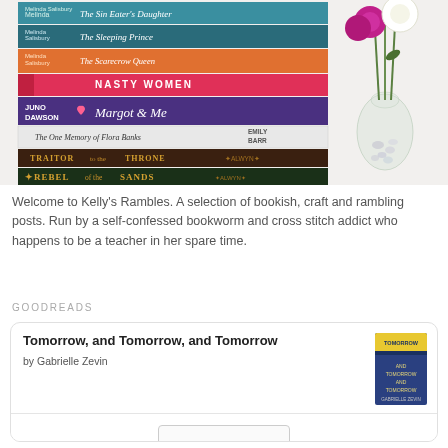[Figure (photo): A stack of colorful books including titles by Melinda Salisbury (The Sin Eater's Daughter, The Sleeping Prince, The Scarecrow Queen), Nasty Women, Margot & Me by Juno Dawson, The One Memory of Flora Banks by Emily Barr, Traitor to the Throne and Rebel of the Sands by Alwyn Hamilton. A clear glass vase with white and pink flowers sits on the right side.]
Welcome to Kelly's Rambles. A selection of bookish, craft and rambling posts. Run by a self-confessed bookworm and cross stitch addict who happens to be a teacher in her spare time.
GOODREADS
[Figure (screenshot): A Goodreads widget card showing the book 'Tomorrow, and Tomorrow, and Tomorrow' by Gabrielle Zevin, with a book cover thumbnail on the right and a button at the bottom.]